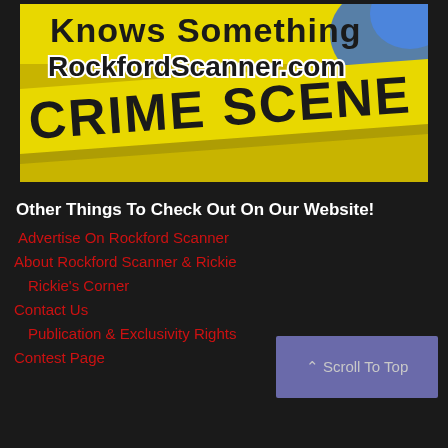[Figure (illustration): Rockford Scanner banner image showing crime scene tape with text 'Knows Something RockfordScanner.com' and 'CRIME SCENE DO NOT' on yellow tape against dark background with blue police lights]
Other Things To Check Out On Our Website!
Advertise On Rockford Scanner
About Rockford Scanner & Rickie
Rickie's Corner
Contact Us
Publication & Exclusivity Rights
Contest Page